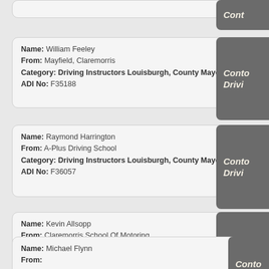(partial card - cropped at top)
Name: William Feeley
From: Mayfield, Claremorris
Category: Driving Instructors Louisburgh, County Mayo
ADI No: F35188
Name: Raymond Harrington
From: A-Plus Driving School
Category: Driving Instructors Louisburgh, County Mayo
ADI No: F36057
Name: Kevin Allsopp
From: Claremorris School Of Motoring
Category: Driving Instructors Louisburgh, County Mayo
ADI No: F34222
Name: Michael Flynn
From:
Category: Driving Instructors Louisburgh, County Mayo
ADI No: F34838